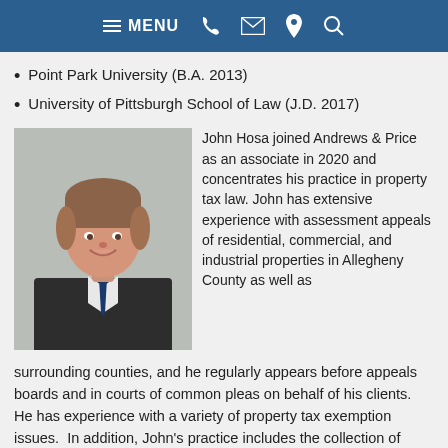MENU [phone] [email] [location] [search]
Point Park University (B.A. 2013)
University of Pittsburgh School of Law (J.D. 2017)
[Figure (photo): Headshot of John Hosa, a young man in a dark suit with a navy blue tie, smiling against a light grey background.]
John Hosa joined Andrews & Price as an associate in 2020 and concentrates his practice in property tax law. John has extensive experience with assessment appeals of residential, commercial, and industrial properties in Allegheny County as well as surrounding counties, and he regularly appears before appeals boards and in courts of common pleas on behalf of his clients.  He has experience with a variety of property tax exemption issues.  In addition, John's practice includes the collection of delinquent property taxes.
Prior to joining Andrews & Price, John held clerkships with the Honorable Valario S. Costanzo of the Washington